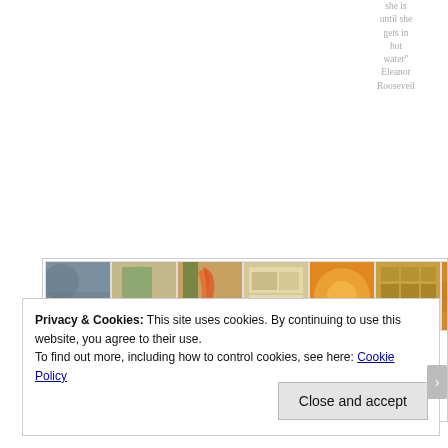she is until she gets in hot water" Eleanor Rooseveil
[Figure (photo): A gallery of 8 thumbnail images in a row inside a bordered container, showing artwork and photography including abstract textures, botanical illustrations, orange warm-toned images, and wooden surfaces. Each thumbnail has a caption below it.]
Ad Infinitum
The rebirth of native Australia flora
Kassandr Cottee, St Columba's High School
Vestigia Vitae (Traces of Life)
Jack Pixley, St Joseph's College
The theme of traces and marks that people and objects
Emma Ruth Donaldson Abbotsleig
Privacy & Cookies: This site uses cookies. By continuing to use this website, you agree to their use. To find out more, including how to control cookies, see here: Cookie Policy
Close and accept